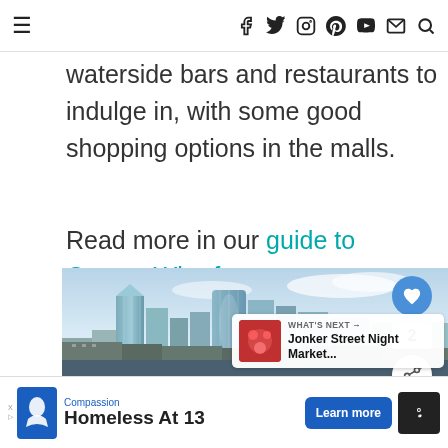≡   f  twitter  instagram  pinterest  youtube  mail  search
waterside bars and restaurants to indulge in, with some good shopping options in the malls.
Read more in our guide to Canary Wharf >
[Figure (photo): Skyline photo of Canary Wharf, London, showing tall modern glass skyscrapers against a blue sky with clouds, with older buildings in the foreground.]
WHAT'S NEXT → Jonker Street Night Market...